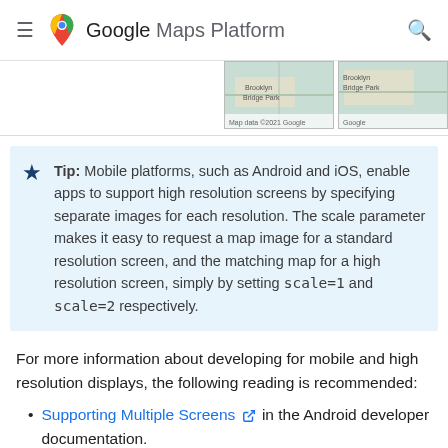Google Maps Platform
[Figure (photo): Two map thumbnail images showing Brooklyn Bridge Park area]
Tip: Mobile platforms, such as Android and iOS, enable apps to support high resolution screens by specifying separate images for each resolution. The scale parameter makes it easy to request a map image for a standard resolution screen, and the matching map for a high resolution screen, simply by setting scale=1 and scale=2 respectively.
For more information about developing for mobile and high resolution displays, the following reading is recommended:
Supporting Multiple Screens [external link] in the Android developer documentation.